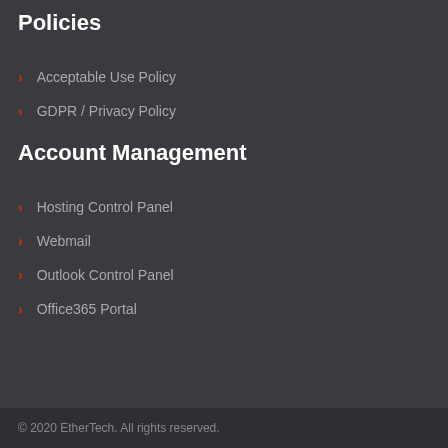Policies
Acceptable Use Policy
GDPR / Privacy Policy
Account Management
Hosting Control Panel
Webmail
Outlook Control Panel
Office365 Portal
© 2020 EtherTech. All rights reserved.